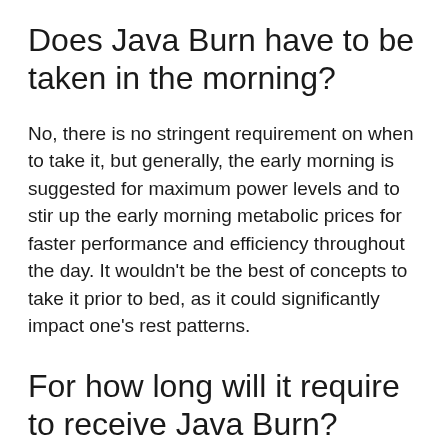Does Java Burn have to be taken in the morning?
No, there is no stringent requirement on when to take it, but generally, the early morning is suggested for maximum power levels and to stir up the early morning metabolic prices for faster performance and efficiency throughout the day. It wouldn’t be the best of concepts to take it prior to bed, as it could significantly impact one’s rest patterns.
For how long will it require to receive Java Burn?